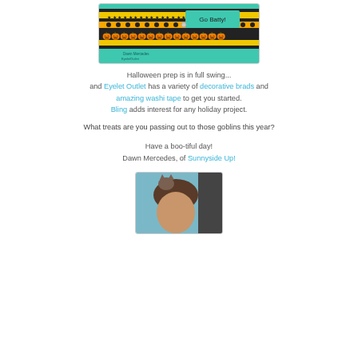[Figure (photo): Halloween craft card on teal/mint background with decorative washi tape strips in black, gold, and orange with pumpkins and stars. Text reads 'Go Batty!' with decorative brads.]
Halloween prep is in full swing...
and Eyelet Outlet has a variety of decorative brads and amazing washi tape to get you started.
Bling adds interest for any holiday project.
What treats are you passing out to those goblins this year?
Have a boo-tiful day!
Dawn Mercedes, of Sunnyside Up!
[Figure (photo): Portrait photo of a woman (Dawn Mercedes) with dark hair, partial view, teal/blue background.]